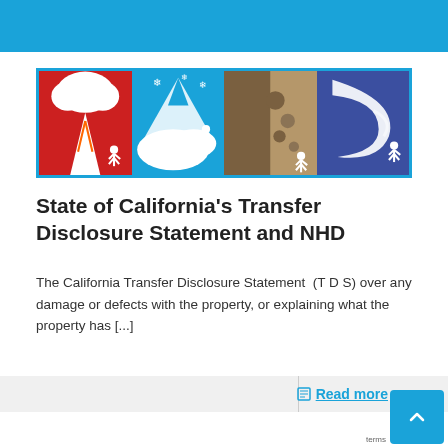[Figure (illustration): Four hazard icons side by side in a blue-bordered frame: volcano/eruption on red background, avalanche/snow on light blue background, landslide on tan background, tsunami wave on dark blue background, each with a running person figure.]
State of California's Transfer Disclosure Statement and NHD
The California Transfer Disclosure Statement  (T D S) over any damage or defects with the property, or explaining what the property has [...]
Read more